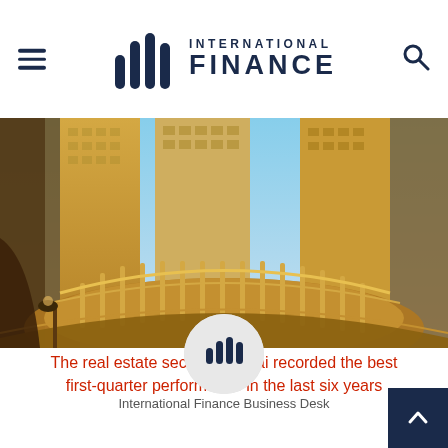International Finance
[Figure (photo): Exterior view of tall golden luxury hotel and residential buildings in Dubai, shot from below with dramatic fisheye perspective showing ornate curved balconies and terraces against a blue sky]
The real estate sector in Dubai recorded the best first-quarter performance in the last six years
[Figure (logo): International Finance logo icon — three vertical bars in dark navy, circular grey background, author avatar]
International Finance Business Desk